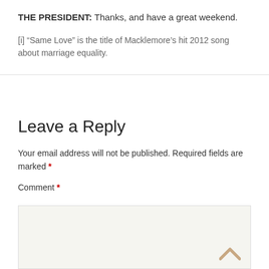THE PRESIDENT: Thanks, and have a great weekend.
[i] “Same Love” is the title of Macklemore’s hit 2012 song about marriage equality.
Leave a Reply
Your email address will not be published. Required fields are marked *
Comment *